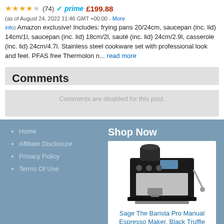★★★★☆ (74) ✓ prime £199.88 (as of August 24, 2022 11:46 GMT +00:00 - More info) Amazon exclusive! Includes: frying pans 20/24cm, saucepan (inc. lid) 14cm/1l, saucepan (inc. lid) 18cm/2l, sauté (inc. lid) 24cm/2.9l, casserole (inc. lid) 24cm/4.7l. Stainless steel cookware set with professional look and feel. PFAS free Thermolon n... read more
Comments
Comments are disabled for this post.
Home
Affiliate Disclosure
Privacy Policy
Terms Of Use
Shop Now
[Figure (photo): Black espresso machine - Sage The Barista Pro Manual Espresso Maker, Black Truffle]
Sage The Barista Pro Manual Espresso Maker, Black Truffle
$1148.74